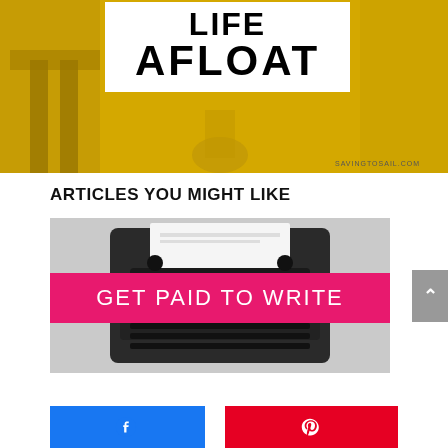[Figure (infographic): Yellow background image with white box containing bold text 'AFLOAT' and partial text 'LIFE' at top, with savingtosail.com URL, and blurred chair/furniture in background]
ARTICLES YOU MIGHT LIKE
[Figure (photo): Black and white photo of a typewriter with a pink/magenta banner overlay reading 'GET PAID TO WRITE' in white text]